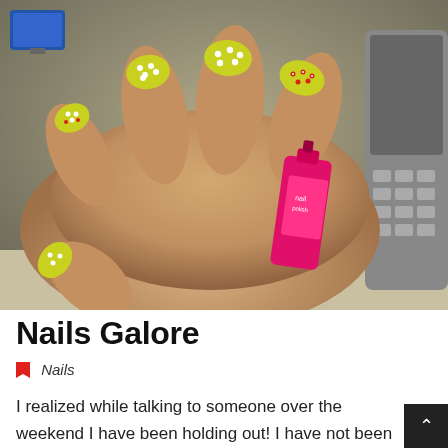[Figure (photo): Close-up photo of a hand with yellow nail polish decorated with white polka dots and red flower designs, holding a pink nail polish bottle. A phone/keyboard is visible on the right side.]
Nails Galore
Nails
I realized while talking to someone over the weekend I have been holding out! I have not been sharing in my nail journey with my blog. I mean I LOVE my nails.